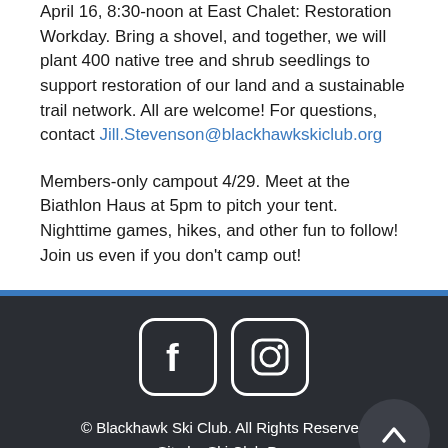April 16, 8:30-noon at East Chalet: Restoration Workday. Bring a shovel, and together, we will plant 400 native tree and shrub seedlings to support restoration of our land and a sustainable trail network. All are welcome! For questions, contact Jill.Stevenson@blackhawkskiclub.org
Members-only campout 4/29. Meet at the Biathlon Haus at 5pm to pitch your tent. Nighttime games, hikes, and other fun to follow! Join us even if you don't camp out!
[Figure (illustration): Social media icons: Facebook and Instagram, white rounded square icons on dark footer background]
© Blackhawk Ski Club. All Rights Reserved
Site by Ski Club Pro